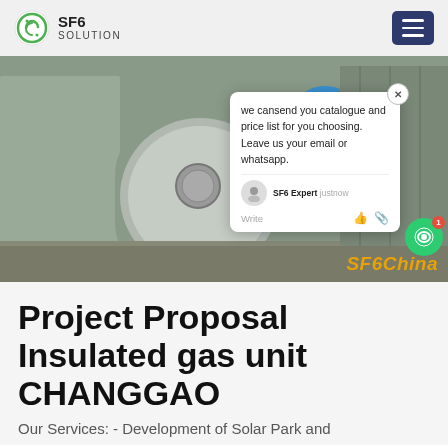SF6 SOLUTION
[Figure (photo): Engineer in blue coveralls and hard hat working on industrial SF6 gas equipment (large cylindrical tank/switchgear). A chat popup overlay reads: 'we can send you catalogue and price list for you choosing. Leave us your email or whatsapp.' Signed SF6 Expert, just now. SF6China watermark bottom right.]
Project Proposal Insulated gas unit CHANGGAO
Our Services: - Development of Solar Park and